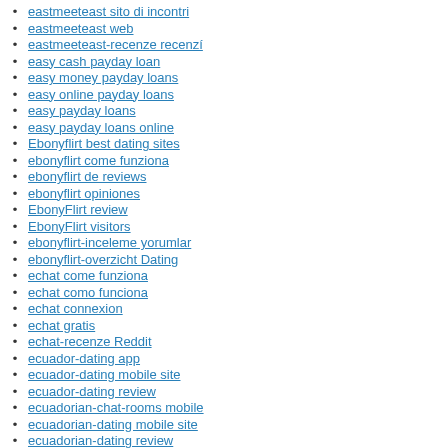eastmeeteast sito di incontri
eastmeeteast web
eastmeeteast-recenze recenzí
easy cash payday loan
easy money payday loans
easy online payday loans
easy payday loans
easy payday loans online
Ebonyflirt best dating sites
ebonyflirt come funziona
ebonyflirt de reviews
ebonyflirt opiniones
EbonyFlirt review
EbonyFlirt visitors
ebonyflirt-inceleme yorumlar
ebonyflirt-overzicht Dating
echat come funziona
echat como funciona
echat connexion
echat gratis
echat-recenze Reddit
ecuador-dating app
ecuador-dating mobile site
ecuador-dating review
ecuadorian-chat-rooms mobile
ecuadorian-dating mobile site
ecuadorian-dating review
edarling come funziona